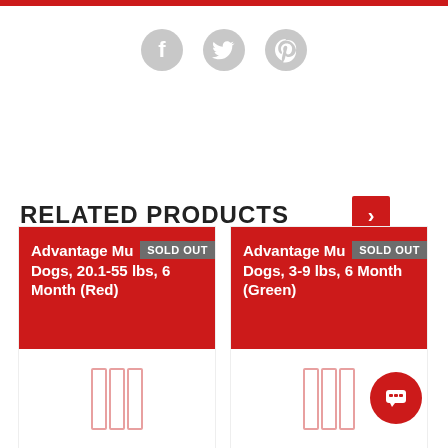[Figure (other): Top red horizontal bar]
[Figure (other): Social media icons: Facebook, Twitter, Pinterest (gray circles with icons)]
RELATED PRODUCTS
[Figure (other): Product card: Advantage Mu Dogs, 20.1-55 lbs, 6 Month (Red) - SOLD OUT badge, red background, placeholder image area, red footer bar]
[Figure (other): Product card: Advantage Mu Dogs, 3-9 lbs, 6 Month (Green) - SOLD OUT badge, red background, placeholder image area, red footer bar]
Back to top
[Figure (other): Red circular chat button with speech bubble icon]